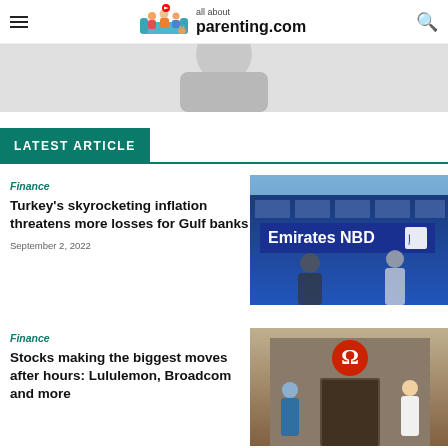all about parenting.com
[Figure (photo): Partial hero image at top of page — cropped figure on light background]
LATEST ARTICLE
Finance
Turkey's skyrocketing inflation threatens more losses for Gulf banks
September 2, 2022
[Figure (photo): Emirates NBD bank building exterior with people walking past, blurred motion]
Finance
Stocks making the biggest moves after hours: Lululemon, Broadcom and more
[Figure (photo): Lululemon store exterior with red logo, people walking by]